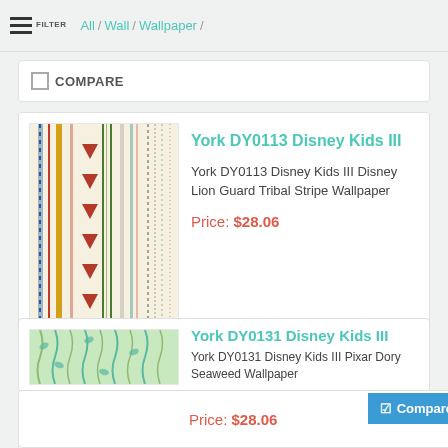FILTER / All / Wall / Wallpaper /
COMPARE
York DY0113 Disney Kids III
York DY0113 Disney Kids III Disney Lion Guard Tribal Stripe Wallpaper
Price: $28.06
COMPARE
York DY0131 Disney Kids III
York DY0131 Disney Kids III Pixar Dory Seaweed Wallpaper
Price: $28.06
Compare